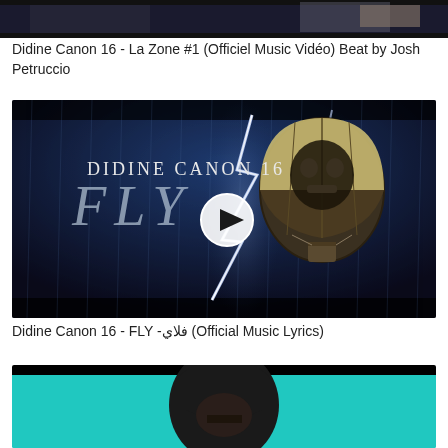[Figure (screenshot): Top portion of a cropped video thumbnail for 'La Zone #1' - dark scene partially visible]
Didine Canon 16 - La Zone #1 (Officiel Music Vidéo) Beat by Josh Petruccio
[Figure (screenshot): Video thumbnail showing 'Didine Canon 16 - FLY' music video with a hot air balloon against a stormy lightning background, with a play button circle in the center. Text 'DIDINE CANON 16' and 'FLY' visible.]
Didine Canon 16 - FLY -فلاي (Official Music Lyrics)
[Figure (screenshot): Bottom portion of another video thumbnail showing a person wearing a dark hoodie against a teal/turquoise background]